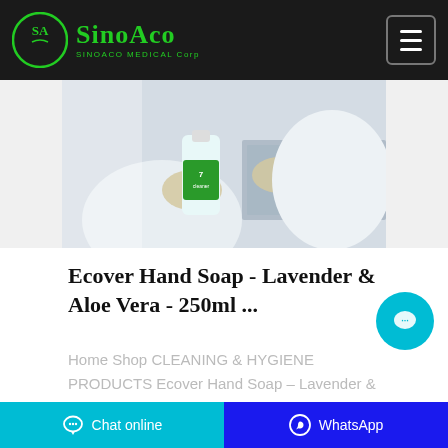SinoAoo MEDICAL Corp
[Figure (photo): Person in white coat and gloves holding a green labeled bottle/container in an industrial or medical setting]
Ecover Hand Soap - Lavender & Aloe Vera - 250ml ...
Home Shop CLEANING & HYGIENE PRODUCTS Ecover Hand Soap – Lavender & Aloe Vera – 250ml. Previous product. Ecoleaf Jumbo
Chat online   WhatsApp